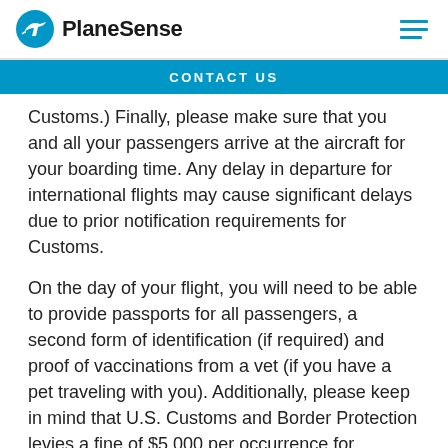PlaneSense
CONTACT US
Customs.) Finally, please make sure that you and all your passengers arrive at the aircraft for your boarding time. Any delay in departure for international flights may cause significant delays due to prior notification requirements for Customs.
On the day of your flight, you will need to be able to provide passports for all passengers, a second form of identification (if required) and proof of vaccinations from a vet (if you have a pet traveling with you). Additionally, please keep in mind that U.S. Customs and Border Protection levies a fine of $5,000 per occurrence for submission of incorrect information. Fines will be